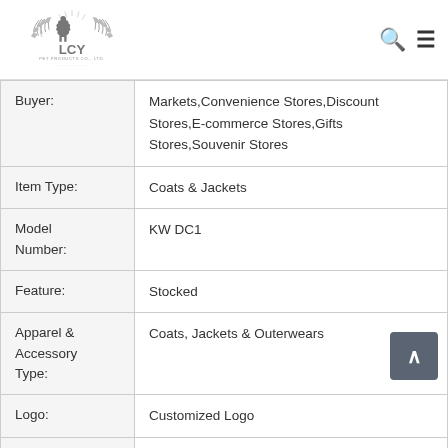[Figure (logo): LCY Pet Products Co. Ltd. logo with dog silhouette and laurel wreath]
| Buyer: | Markets,Convenience Stores,Discount Stores,E-commerce Stores,Gifts Stores,Souvenir Stores |
| Item Type: | Coats & Jackets |
| Model Number: | KW DC1 |
| Feature: | Stocked |
| Apparel & Accessory Type: | Coats, Jackets & Outerwears |
| Logo: | Customized Logo |
|  |  |